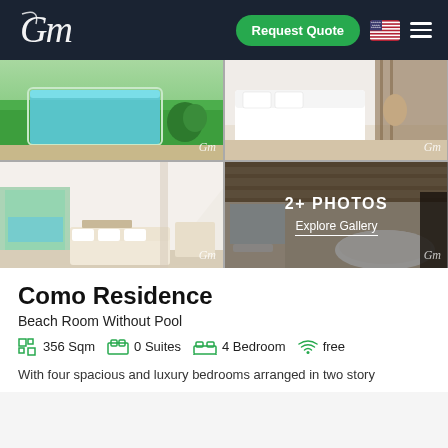[Figure (screenshot): Website header with CM logo, Request Quote green button, US flag icon, and hamburger menu on dark navy background]
[Figure (photo): Four-panel photo gallery grid: top-left shows pool and green lawn, top-right shows white bed/sofa interior, bottom-left shows open-plan living room with pool view, bottom-right shows luxury bathroom with overlay '2+ PHOTOS / Explore Gallery']
Como Residence
Beach Room Without Pool
356 Sqm   0 Suites   4 Bedroom   free
With four spacious and luxury bedrooms arranged in two story